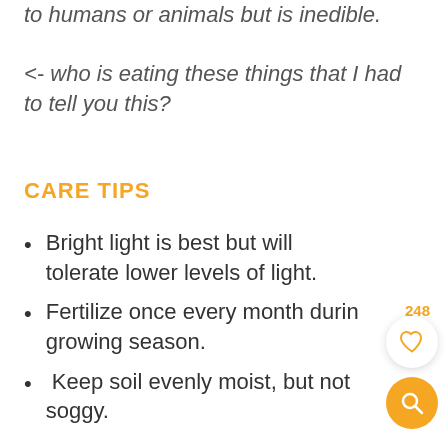to humans or animals but is inedible. <- who is eating these things that I had to tell you this?
CARE TIPS
Bright light is best but will tolerate lower levels of light.
Fertilize once every month during growing season.
Keep soil evenly moist, but not soggy.